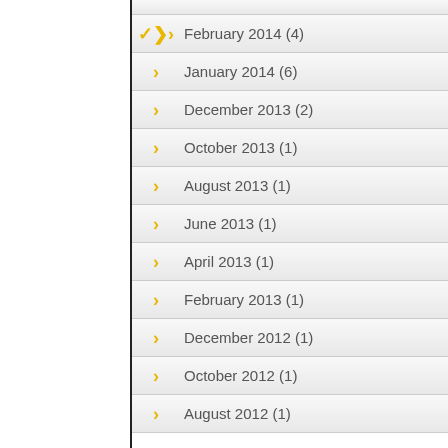February 2014 (4)
January 2014 (6)
December 2013 (2)
October 2013 (1)
August 2013 (1)
June 2013 (1)
April 2013 (1)
February 2013 (1)
December 2012 (1)
October 2012 (1)
August 2012 (1)